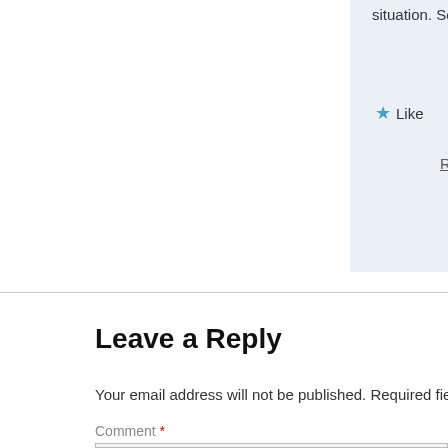situation. Sometimes just the upper portion
★ Like
Reply
Leave a Reply
Your email address will not be published. Required fields are m
Comment *